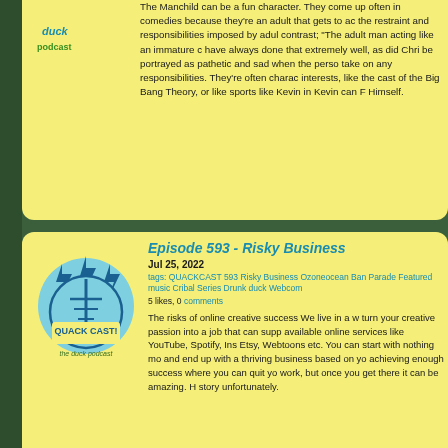The Manchild can be a fun character. They come up often in comedies because they're an adult that gets to act without the restraint and responsibilities imposed by adulthood. The contrast; "The adult man acting like an immature child" can have always done that extremely well, as did Chris... be portrayed as pathetic and sad when the person refuses to take on any responsibilities. They're often characterised by interests, like the cast of the Big Bang Theory, or with interests like sports like Kevin in Kevin can F Himself.
[Figure (logo): Quackcast logo - circular badge with lightning bolts, teal and blue colors, text reads QUACK CAST the duck podcast]
Episode 593 - Risky Business
Jul 25, 2022
tags: QUACKCAST 593 Risky Business Ozoneocean Banes Parade Featured music Cribal Series Drunk duck Webcomics
5 likes, 0 comments
The risks of online creative success We live in a world where you can turn your creative passion into a job that can support you through available online services like YouTube, Spotify, Instagram, Patreon, Etsy, Webtoons etc. You can start with nothing more than your talent and end up with a thriving business based on your creativity, even achieving enough success where you can quit your regular day to day work, but once you get there it can be amazing. However that's not the story unfortunately.